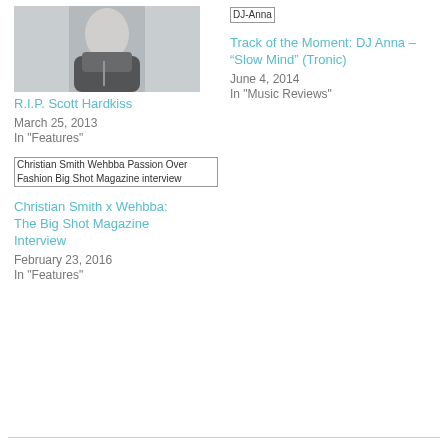[Figure (photo): Photo of a man in a dark suit, sitting against a light background]
R.I.P. Scott Hardkiss
March 25, 2013
In "Features"
[Figure (photo): Broken image placeholder labeled DJ-Anna]
Track of the Moment: DJ Anna – “Slow Mind” (Tronic)
June 4, 2014
In "Music Reviews"
[Figure (photo): Broken image placeholder labeled Christian Smith Wehbba Passion Over Fashion Big Shot Magazine interview]
Christian Smith x Wehbba: The Big Shot Magazine Interview
February 23, 2016
In "Features"